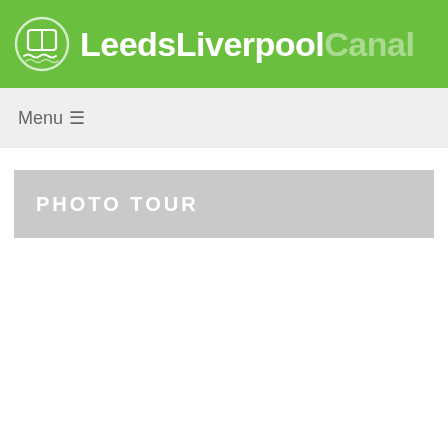LeedsLiverpoolCanal
Menu
PHOTO TOUR